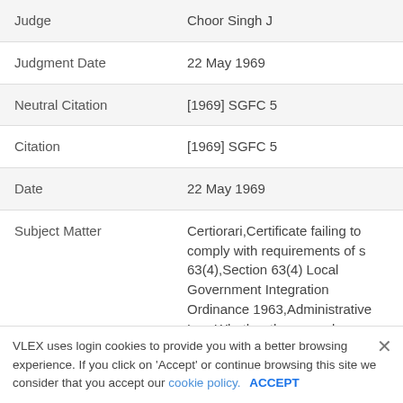| Field | Value |
| --- | --- |
| Judge | Choor Singh J |
| Judgment Date | 22 May 1969 |
| Neutral Citation | [1969] SGFC 5 |
| Citation | [1969] SGFC 5 |
| Date | 22 May 1969 |
| Subject Matter | Certiorari,Certificate failing to comply with requirements of s 63(4),Section 63(4) Local Government Integration Ordinance 1963,Administrative Law,Whether there was locus standi to apply to quash |
VLEX uses login cookies to provide you with a better browsing experience. If you click on 'Accept' or continue browsing this site we consider that you accept our cookie policy. ACCEPT